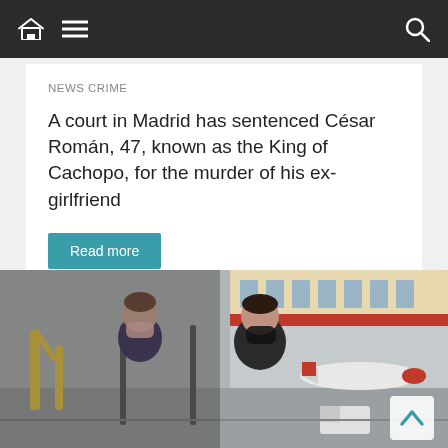Navigation bar with home, menu, and search icons
NEWS CRIME
A court in Madrid has sentenced César Román, 47, known as the King of Cachopo, for the murder of his ex-girlfriend
Read more
[Figure (photo): Two women wearing face masks posing together at an airport terminal, with aircraft and airport infrastructure visible through the windows behind them.]